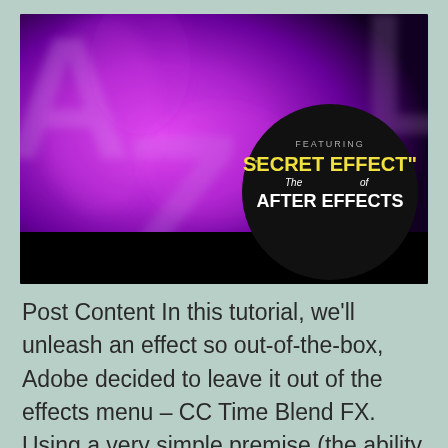[Figure (illustration): A purple smoky background with large partially visible letters 'AZ PL' in magenta/pink tones. Overlaid on the bottom-right is a circular black badge reading: FEATURING / "SECRET EFFECT" / The of AFTER EFFECTS]
Post Content In this tutorial, we'll unleash an effect so out-of-the-box, Adobe decided to leave it out of the effects menu – CC Time Blend FX. Using a very simple premise (the ability to loop other effects), we'll quickly turn